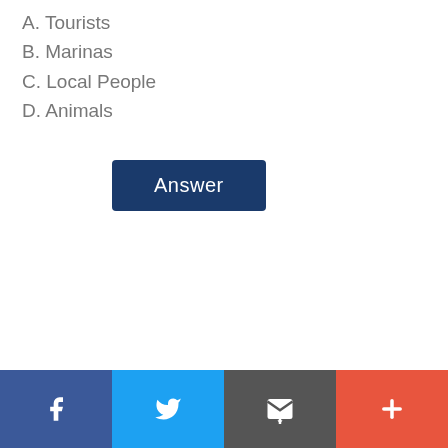A. Tourists
B. Marinas
C. Local People
D. Animals
[Figure (other): Answer button — dark navy blue rectangular button with white text reading 'Answer']
Social share footer bar with Facebook, Twitter, Email, and Plus icons